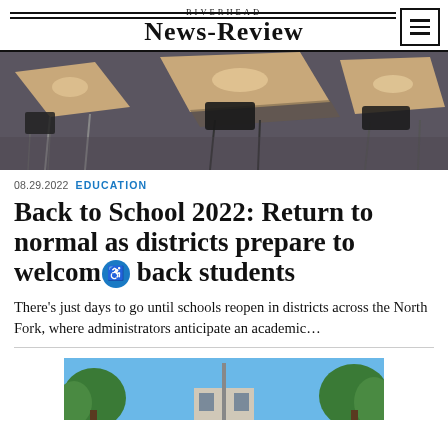RIVERHEAD News-Review
[Figure (photo): Empty school desks and chairs arranged on a carpeted classroom floor, viewed from above at an angle, with tan/wood-colored desk surfaces and metal frames.]
08.29.2022 EDUCATION
Back to School 2022: Return to normal as districts prepare to welcome back students
There's just days to go until schools reopen in districts across the North Fork, where administrators anticipate an academic…
[Figure (photo): Outdoor scene showing trees and sky, partially visible, appears to be a school or community building area.]